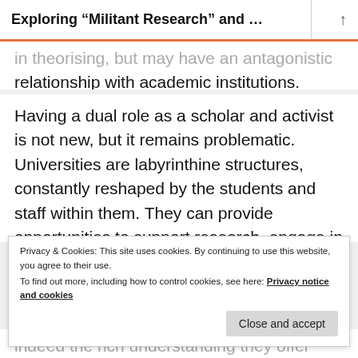Exploring “Militant Research” and …
in theorising, but may have an antagonistic relationship with academic institutions.
Having a dual role as a scholar and activist is not new, but it remains problematic. Universities are labyrinthine structures, constantly reshaped by the students and staff within them. They can provide opportunities to support research, engage in discussion and offer practical help such
Privacy & Cookies: This site uses cookies. By continuing to use this website, you agree to their use.
To find out more, including how to control cookies, see here: Privacy notice and cookies
indeed the rich understanding they offer springs